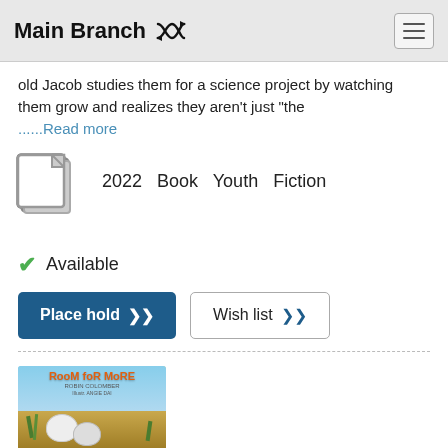Main Branch
old Jacob studies them for a science project by watching them grow and realizes they aren't just "the ......Read more
[Figure (illustration): Generic book icon (gray square with folded corner)]
2022  Book  Youth  Fiction
✓ Available
Place hold  Wish list
[Figure (photo): Book cover for 'Room for More' showing illustrated animals in a nature setting with orange title text]